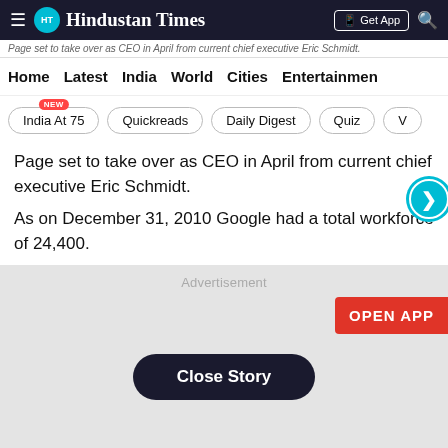Hindustan Times
Home  Latest  India  World  Cities  Entertainment
India At 75  Quickreads  Daily Digest  Quiz  V
Page set to take over as CEO in April from current chief executive Eric Schmidt.
As on December 31, 2010 Google had a total workforce of 24,400.
[Figure (other): Advertisement block with Open App button and Close Story button]